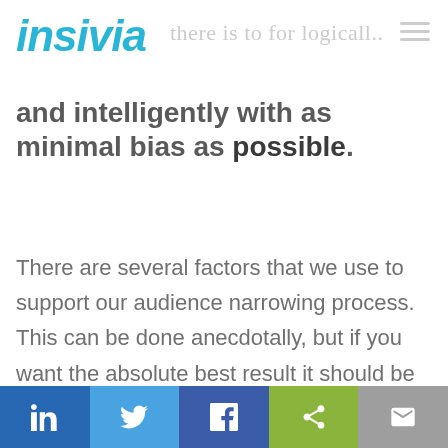insivia
and intelligently with as minimal bias as possible.
There are several factors that we use to support our audience narrowing process. This can be done anecdotally, but if you want the absolute best result it should be done with expansive research to fill in gaps and confirm our assumptions.
LinkedIn | Twitter | Facebook | Share | Email